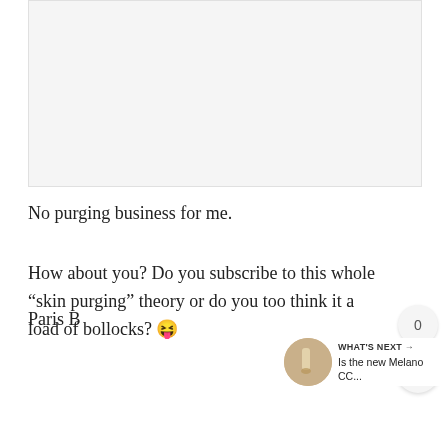[Figure (photo): Light gray placeholder image area at the top of the page]
No purging business for me.
How about you? Do you subscribe to this whole “skin purging” theory or do you too think it a load of bollocks? 😛
Paris B
WHAT'S NEXT → Is the new Melano CC...